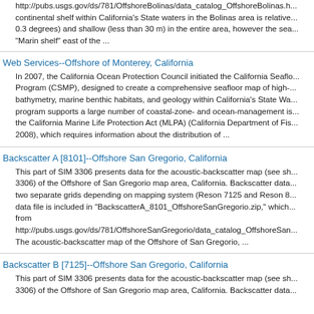http://pubs.usgs.gov/ds/781/OffshoreBolinas/data_catalog_OffshoreBolinas.h... continental shelf within California's State waters in the Bolinas area is relative... 0.3 degrees) and shallow (less than 30 m) in the entire area, however the sea... "Marin shelf" east of the ...
Web Services--Offshore of Monterey, California
In 2007, the California Ocean Protection Council initiated the California Seaflo... Program (CSMP), designed to create a comprehensive seafloor map of high-... bathymetry, marine benthic habitats, and geology within California's State Wa... program supports a large number of coastal-zone- and ocean-management is... the California Marine Life Protection Act (MLPA) (California Department of Fis... 2008), which requires information about the distribution of ...
Backscatter A [8101]--Offshore San Gregorio, California
This part of SIM 3306 presents data for the acoustic-backscatter map (see sh... 3306) of the Offshore of San Gregorio map area, California. Backscatter data... two separate grids depending on mapping system (Reson 7125 and Reson 8... data file is included in "BackscatterA_8101_OffshoreSanGregorio.zip," which... from http://pubs.usgs.gov/ds/781/OffshoreSanGregorio/data_catalog_OffshoreSan... The acoustic-backscatter map of the Offshore of San Gregorio, ...
Backscatter B [7125]--Offshore San Gregorio, California
This part of SIM 3306 presents data for the acoustic-backscatter map (see sh... 3306) of the Offshore of San Gregorio map area, California. Backscatter data...